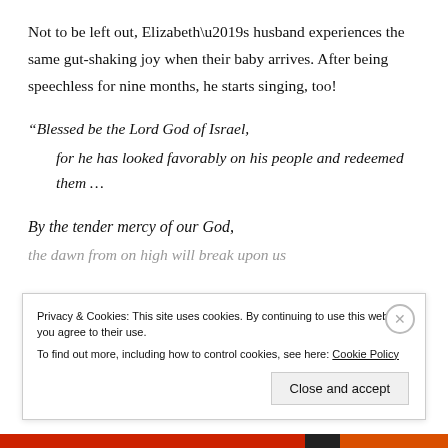Not to be left out, Elizabeth’s husband experiences the same gut-shaking joy when their baby arrives. After being speechless for nine months, he starts singing, too!
“Blessed be the Lord God of Israel,
    for he has looked favorably on his people and redeemed them …
By the tender mercy of our God,
the dawn from on high will break upon us
Privacy & Cookies: This site uses cookies. By continuing to use this website, you agree to their use.
To find out more, including how to control cookies, see here: Cookie Policy